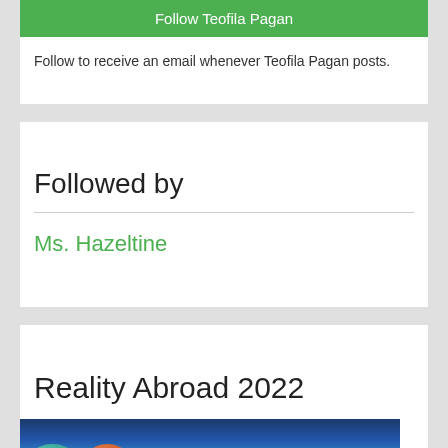Follow Teofila Pagan
Follow to receive an email whenever Teofila Pagan posts.
Followed by
Ms. Hazeltine
Reality Abroad 2022
[Figure (illustration): Space scene with planets and rocket against a dark starry sky background]